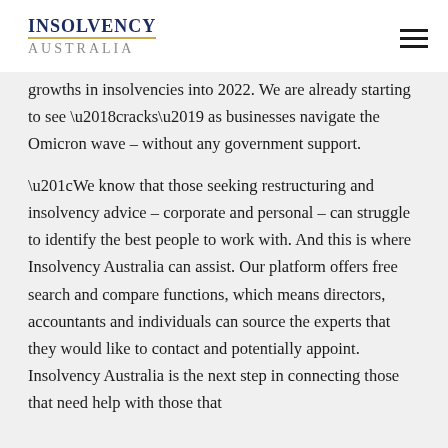INSOLVENCY AUSTRALIA
growths in insolvencies into 2022. We are already starting to see ‘cracks’ as businesses navigate the Omicron wave – without any government support.
“We know that those seeking restructuring and insolvency advice – corporate and personal – can struggle to identify the best people to work with. And this is where Insolvency Australia can assist. Our platform offers free search and compare functions, which means directors, accountants and individuals can source the experts that they would like to contact and potentially appoint. Insolvency Australia is the next step in connecting those that need help with those that